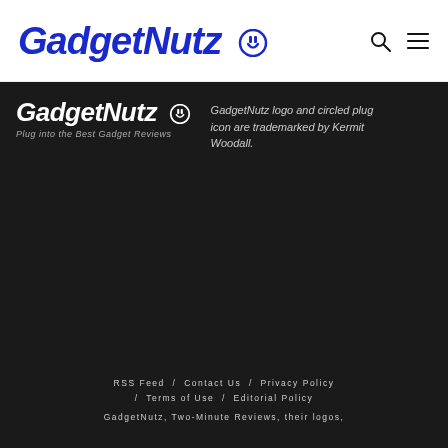GadgetNutz
[Figure (logo): GadgetNutz logo on dark background with tagline 'Plug into the Best Gadget Reviews' and circled plug icon, alongside trademark text: 'GadgetNutz logo and circled plug icon are trademarked by Kermit Woodall.']
RSS Feed / Contact Us / Privacy Policy / Terms of Use / Editorial Policy
GadgetNutz, Two-Minute Reviews, their logos,